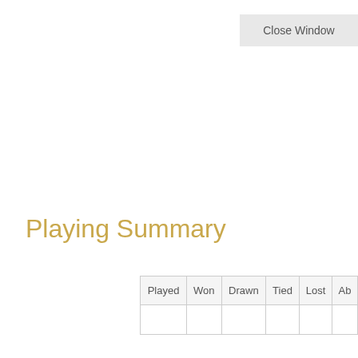Close Window
Playing Summary
| Played | Won | Drawn | Tied | Lost | Ab... |
| --- | --- | --- | --- | --- | --- |
|  |  |  |  |  |  |